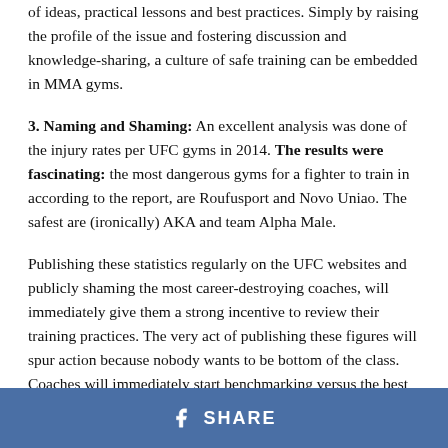of ideas, practical lessons and best practices. Simply by raising the profile of the issue and fostering discussion and knowledge-sharing, a culture of safe training can be embedded in MMA gyms.
3. Naming and Shaming: An excellent analysis was done of the injury rates per UFC gyms in 2014. The results were fascinating: the most dangerous gyms for a fighter to train in according to the report, are Roufusport and Novo Uniao. The safest are (ironically) AKA and team Alpha Male.
Publishing these statistics regularly on the UFC websites and publicly shaming the most career-destroying coaches, will immediately give them a strong incentive to review their training practices. The very act of publishing these figures will spur action because nobody wants to be bottom of the class. Coaches will immediately start benchmarking versus the best gyms, learning more modern training methods, and
SHARE